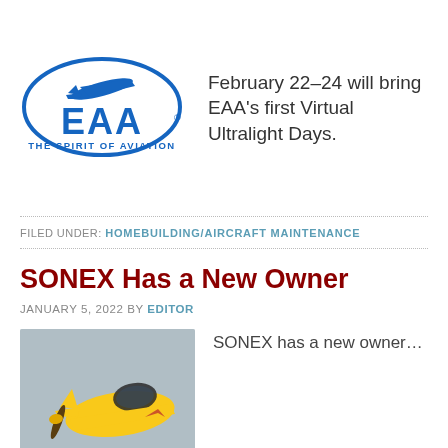[Figure (logo): EAA logo with airplane silhouette in oval, blue text 'EAA' and tagline 'THE SPIRIT OF AVIATION']
February 22-24 will bring EAA's first Virtual Ultralight Days.
FILED UNDER: HOMEBUILDING/AIRCRAFT MAINTENANCE
SONEX Has a New Owner
JANUARY 5, 2022 BY EDITOR
[Figure (photo): Yellow Sonex aircraft in flight against gray sky]
SONEX has a new owner…